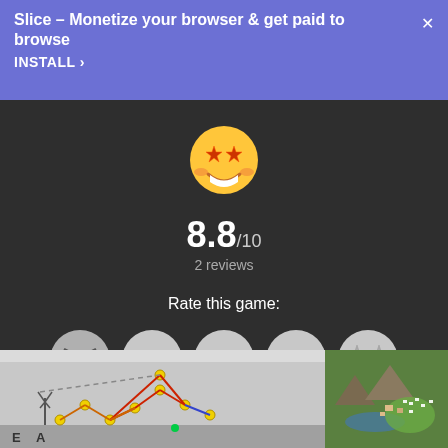Slice – Monetize your browser & get paid to browse
INSTALL ›
[Figure (screenshot): Game rating panel on dark background with star-eyes emoji, score 8.8/10, 2 reviews, and 5 emoji rating options (angry, neutral, slight frown, slight smile, star-eyes)]
[Figure (screenshot): Poly Bridge game screenshot showing a bridge construction with yellow nodes, red and blue struts, on a grey landscape with windmill and letters E and A]
[Figure (screenshot): RTS game screenshot showing aerial view of green terrain with buildings and units]